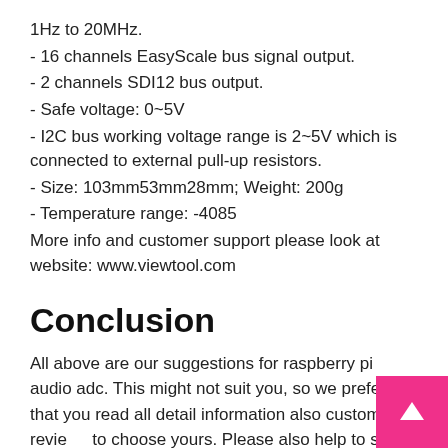1Hz to 20MHz.
- 16 channels EasyScale bus signal output.
- 2 channels SDI12 bus output.
- Safe voltage: 0~5V
- I2C bus working voltage range is 2~5V which is connected to external pull-up resistors.
- Size: 103mm53mm28mm; Weight: 200g
- Temperature range: -4085
More info and customer support please look at website: www.viewtool.com
Conclusion
All above are our suggestions for raspberry pi audio adc. This might not suit you, so we prefer that you read all detail information also customer revie... to choose yours. Please also help to share your